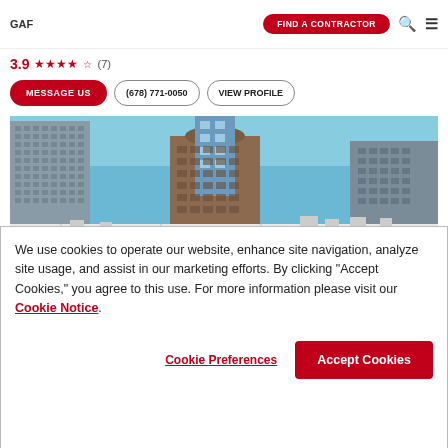GAF | FIND A CONTRACTOR
3.9 ★★★★☆ (7)
MESSAGE US | (678) 771-0050 | VIEW PROFILE
[Figure (photo): Aerial view of urban skyline with flat white commercial rooftop in foreground, multiple tall office buildings and blue sky in background.]
We use cookies to operate our website, enhance site navigation, analyze site usage, and assist in our marketing efforts. By clicking "Accept Cookies," you agree to this use. For more information please visit our Cookie Notice.
Cookie Preferences | Accept Cookies